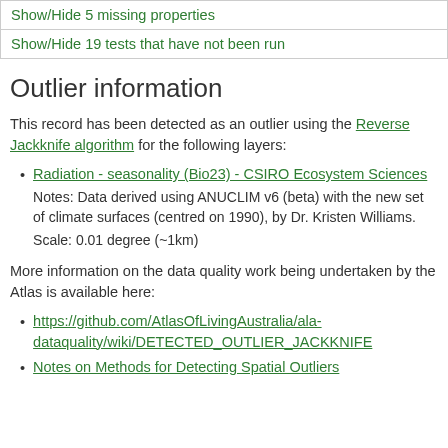| Show/Hide 5 missing properties |
| Show/Hide 19 tests that have not been run |
Outlier information
This record has been detected as an outlier using the Reverse Jackknife algorithm for the following layers:
Radiation - seasonality (Bio23) - CSIRO Ecosystem Sciences
Notes: Data derived using ANUCLIM v6 (beta) with the new set of climate surfaces (centred on 1990), by Dr. Kristen Williams.
Scale: 0.01 degree (~1km)
More information on the data quality work being undertaken by the Atlas is available here:
https://github.com/AtlasOfLivingAustralia/ala-dataquality/wiki/DETECTED_OUTLIER_JACKKNIFE
Notes on Methods for Detecting Spatial Outliers